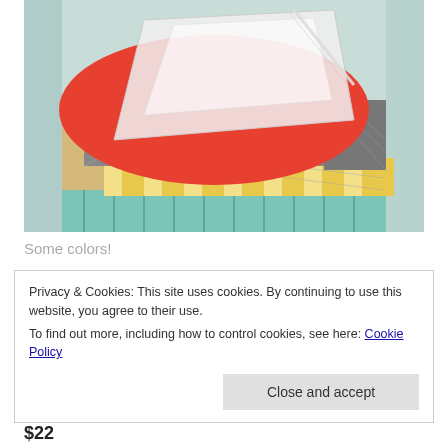[Figure (photo): Open cardboard box viewed from above, containing folded clothing items including a bright red/orange garment on top, patterned gray and white fabric, yellow and white striped fabric, teal striped fabric, and a translucent plastic storage container placed on top of the clothes. The box interior has a light teal patterned lining.]
Some colors!
Privacy & Cookies: This site uses cookies. By continuing to use this website, you agree to their use.
To find out more, including how to control cookies, see here: Cookie Policy
Close and accept
$22